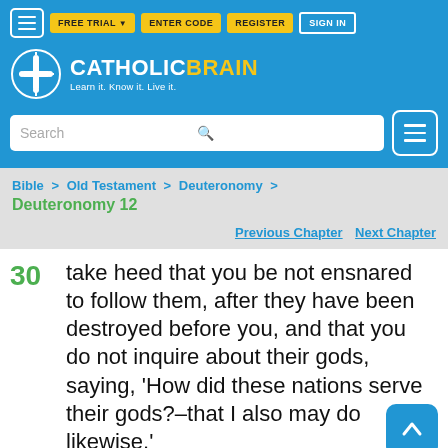CATHOLIC BRAIN — Learn it. Know it. Live it.
Bible > Old Testament > Deuteronomy > Deuteronomy 12
Previous Chapter   Next Chapter
30 take heed that you be not ensnared to follow them, after they have been destroyed before you, and that you do not inquire about their gods, saying, 'How did these nations serve their gods?–that I also may do likewise.'